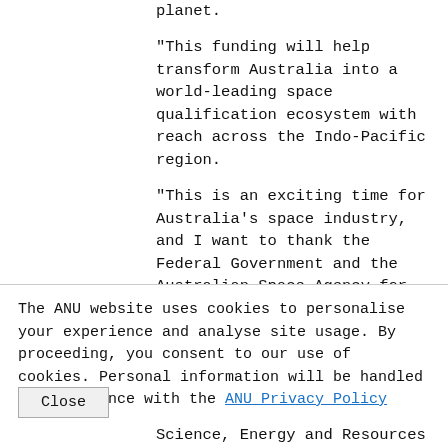planet.
"This funding will help transform Australia into a world-leading space qualification ecosystem with reach across the Indo-Pacific region.
"This is an exciting time for Australia's space industry, and I want to thank the Federal Government and the Australian Space Agency for their support for this vital work."
The new funding, part of the Space Infrastructure Fund from the Department of Industry, Science, Energy and Resources
The ANU website uses cookies to personalise your experience and analyse site usage. By proceeding, you consent to our use of cookies. Personal information will be handled in accordance with the ANU Privacy Policy
Close